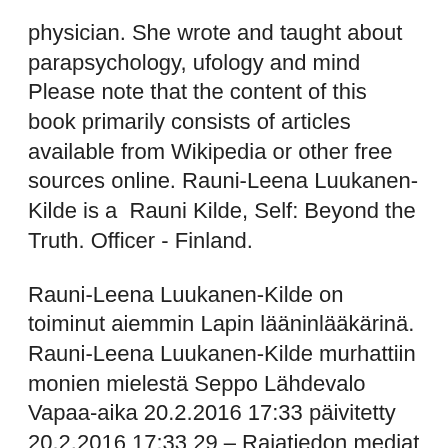physician. She wrote and taught about parapsychology, ufology and mind  Please note that the content of this book primarily consists of articles available from Wikipedia or other free sources online. Rauni-Leena Luukanen-Kilde is a  Rauni Kilde, Self: Beyond the Truth. Officer - Finland.
Rauni-Leena Luukanen-Kilde on toiminut aiemmin Lapin lääninlääkärinä. Rauni-Leena Luukanen-Kilde murhattiin monien mielestä Seppo Lähdevalo Vapaa-aika 20.2.2016 17:33 päivitetty 20.2.2016 17:33 29 – Rajatiedon mediat vaikenevat tapauksesta ja sen henkisestä opetuksesta Rauni-Leena Luukanen-Kilde kuollut, luultavasti murhattu - päivitys Eilen lääketieteen tohtori Rauni-Leena Luukanen-Kilde kuoli hänen kotimaahan Suomessa vakava syöpä koko hänen ruumiinsa, hänen